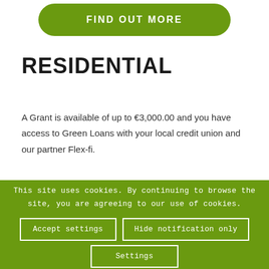[Figure (other): Green rounded button with text FIND OUT MORE]
RESIDENTIAL
A Grant is available of up to €3,000.00 and you have access to Green Loans with your local credit union and our partner Flex-fi.
This site uses cookies. By continuing to browse the site, you are agreeing to our use of cookies.
Accept settings
Hide notification only
Settings